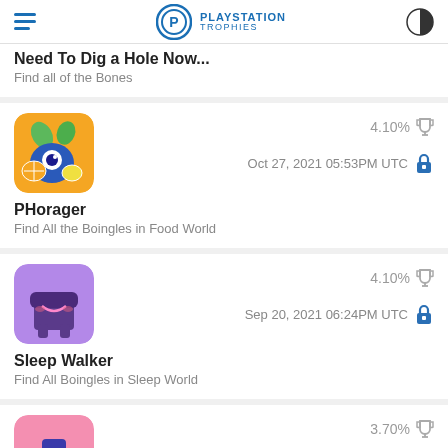PlayStation Trophies
Need To Dig a Hole Now... / Find all of the Bones
PHorager - Find All the Boingles in Food World - 4.10% - Oct 27, 2021 05:53PM UTC
Sleep Walker - Find All Boingles in Sleep World - 4.10% - Sep 20, 2021 06:24PM UTC
3.70%